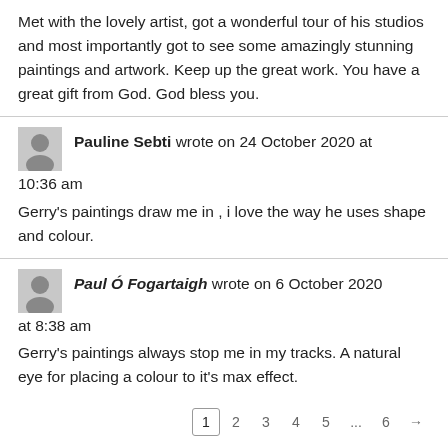Met with the lovely artist, got a wonderful tour of his studios and most importantly got to see some amazingly stunning paintings and artwork. Keep up the great work. You have a great gift from God. God bless you.
Pauline Sebti wrote on 24 October 2020 at 10:36 am
Gerry's paintings draw me in , i love the way he uses shape and colour.
Paul Ó Fogartaigh wrote on 6 October 2020 at 8:38 am
Gerry's paintings always stop me in my tracks. A natural eye for placing a colour to it's max effect.
1 2 3 4 5 ... 6 →